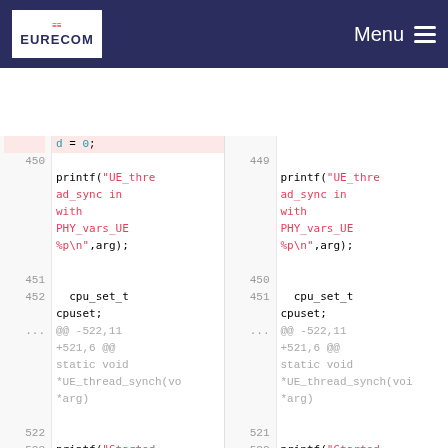EURECOM | Menu
[Figure (screenshot): Code diff view showing two panels side by side with line numbers. Left panel shows removed/old code, right panel shows new code. Code includes printf statements with UE_thread_sync strings, cpu_set_t cpuset declarations, and diff hunk headers. Bottom shows printf Started device, unlocked lines.]